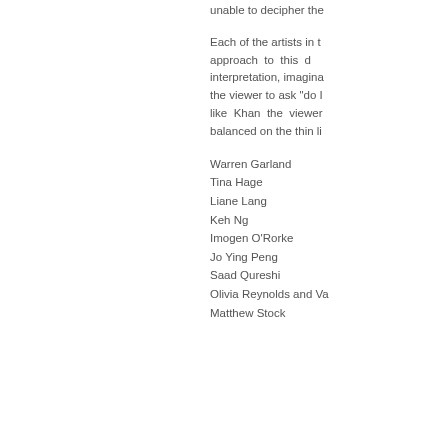unable to decipher the
Each of the artists in t approach to this d interpretation, imagina the viewer to ask "do I like Khan the viewer balanced on the thin li
Warren Garland
Tina Hage
Liane Lang
Keh Ng
Imogen O'Rorke
Jo Ying Peng
Saad Qureshi
Olivia Reynolds and Va
Matthew Stock